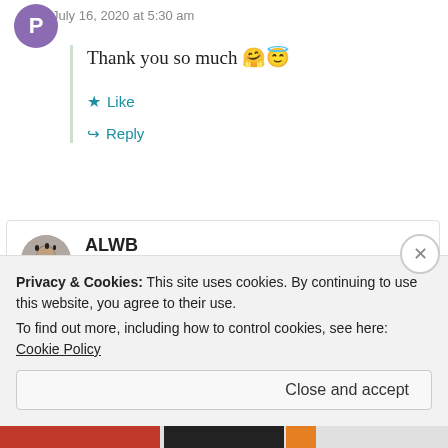July 16, 2020 at 5:30 am
Thank you so much 🤗😇
Like
Reply
ALWB
July 15, 2020 at 11:53 pm
Privacy & Cookies: This site uses cookies. By continuing to use this website, you agree to their use.
To find out more, including how to control cookies, see here: Cookie Policy
Close and accept